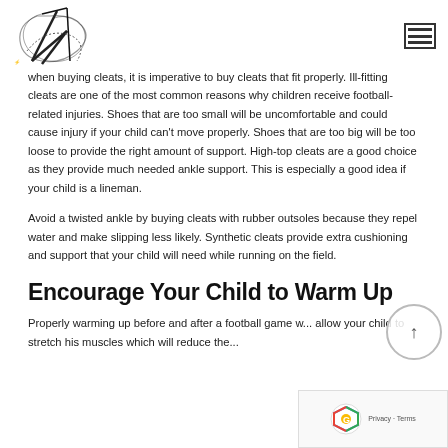[Logo] [Hamburger menu icon]
when buying cleats, it is imperative to buy cleats that fit properly. Ill-fitting cleats are one of the most common reasons why children receive football-related injuries. Shoes that are too small will be uncomfortable and could cause injury if your child can't move properly. Shoes that are too big will be too loose to provide the right amount of support. High-top cleats are a good choice as they provide much needed ankle support. This is especially a good idea if your child is a lineman.
Avoid a twisted ankle by buying cleats with rubber outsoles because they repel water and make slipping less likely. Synthetic cleats provide extra cushioning and support that your child will need while running on the field.
Encourage Your Child to Warm Up
Properly warming up before and after a football game w... allow your child to stretch his muscles which will reduce the...